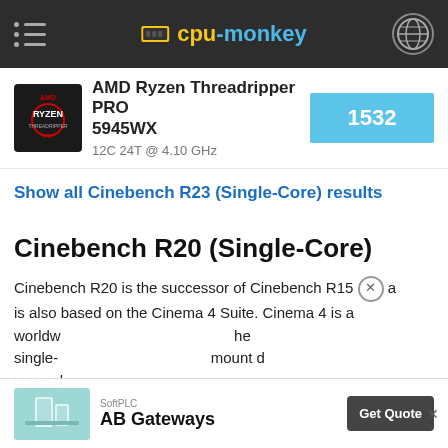cpu-monkey
AMD Ryzen Threadripper PRO 5945WX — 12C 24T @ 4.10 GHz — Score: 1532
Show all Cinebench R23 (Single-Core) results
Cinebench R20 (Single-Core)
Cinebench R20 is the successor of Cinebench R15 and is also based on the Cinema 4 Suite. Cinema 4 is a worldwide used software to create 3d forms. The single-core test only uses one CPU core, the amount of cores or hyperthreading ability doesn't count.